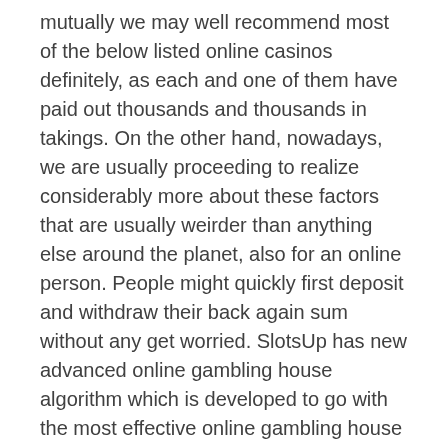mutually we may well recommend most of the below listed online casinos definitely, as each and one of them have paid out thousands and thousands in takings. On the other hand, nowadays, we are usually proceeding to realize considerably more about these factors that are usually weirder than anything else around the planet, also for an online person. People might quickly first deposit and withdraw their back again sum without any get worried. SlotsUp has new advanced online gambling house algorithm which is developed to go with the most effective online gambling house where members will enjoy using online video poker machines for specific income.
My get of cash was raising much bigger by the little by only applying the Primary Policies of Internet poker. Guarantees the graduating or even article graduating college students, performing society and introduced common from diverse global financial and societal status, with pretty effective and blast-based funds for...